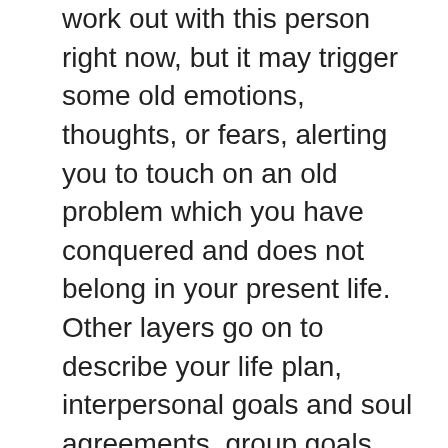work out with this person right now, but it may trigger some old emotions, thoughts, or fears, alerting you to touch on an old problem which you have conquered and does not belong in your present life. Other layers go on to describe your life plan, interpersonal goals and soul agreements, group goals, and the creation of possibilities- your hearts desires and future manifestations, specific knowledge of pre-worlds and other times, past lives jointly healed through family karma, whether biological, adoptive, by step relation and, or by marriage. A new consciousness may be attained by an entire group dealing with disasters such as earthquakes, floods, tsunamis, that impact large groups of people. Layer 21, which Sheryl feels,